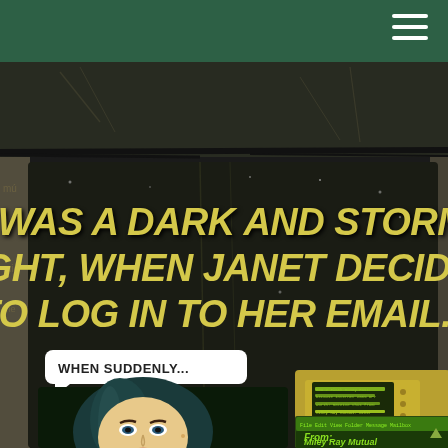[Figure (illustration): Retro comic-book style poster with distressed/aged dark background. Large bold yellow italic text reads: IT WAS A DARK AND STORMY NIGHT, WHEN JANET DECIDED TO LOG IN TO HER EMAIL... Below that, a speech bubble reads WHEN SUDDENLY... On the left is a comic-style illustration of a woman with blue-tinted hair. On the right is a retro computer/terminal with a yellow screen showing an email. Below that is another email panel showing 'From: Miley Ray Mutual'.]